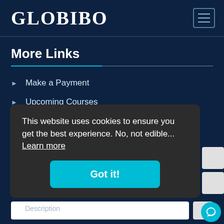GLOBIBO
More Links
Make a Payment
Upcoming Courses
Sustainability
Data Protection & Privacy
This website uses cookies to ensure you get the best experience. No, not edible... Learn more
Got it!
Description